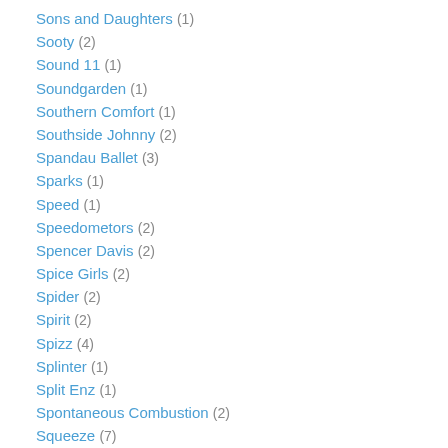Sons and Daughters (1)
Sooty (2)
Sound 11 (1)
Soundgarden (1)
Southern Comfort (1)
Southside Johnny (2)
Spandau Ballet (3)
Sparks (1)
Speed (1)
Speedometors (2)
Spencer Davis (2)
Spice Girls (2)
Spider (2)
Spirit (2)
Spizz (4)
Splinter (1)
Split Enz (1)
Spontaneous Combustion (2)
Squeeze (7)
Stackridge (2)